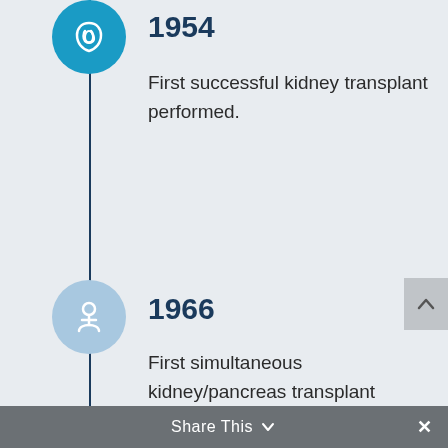[Figure (infographic): Medical timeline infographic showing two entries: 1954 - First successful kidney transplant performed, and 1966 - First simultaneous kidney/pancreas transplant performed. Each entry has a circular icon with a medical symbol and a vertical timeline line connecting them.]
1954
First successful kidney transplant performed.
1966
First simultaneous kidney/pancreas transplant performed.
Share This ∨  ×